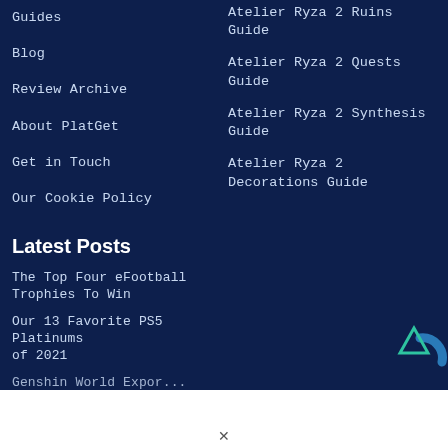Guides
Blog
Review Archive
About PlatGet
Get in Touch
Our Cookie Policy
Atelier Ryza 2 Ruins Guide
Atelier Ryza 2 Quests Guide
Atelier Ryza 2 Synthesis Guide
Atelier Ryza 2 Decorations Guide
Latest Posts
The Top Four eFootball Trophies To Win
Our 13 Favorite PS5 Platinums of 2021
Genshin World Exploration...